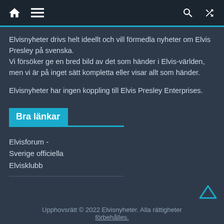Navigation bar with home, menu, search, and shuffle icons
Elvisnyheter drivs helt ideellt och vill förmedla nyheter om Elvis Presley på svenska.
Vi försöker ge en bred bild av det som händer i Elvis-världen, men vi är på inget sätt kompletta eller visar allt som händer.
Elvisnyheter har ingen koppling till Elvis Presley Enterprises.
Bra länkar
Elvisforum -
Sverige officiella
Elvisklubb
Upphovsrätt © 2022 Elvisnyheter. Alla rättigheter förbehålles.